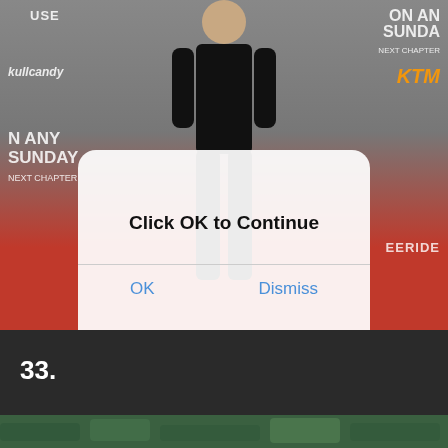[Figure (photo): A person wearing all black leather outfit standing on a red carpet event with sponsor banners (Skullcandy, KTM, On Any Sunday, Freeride) visible in background. A modal dialog box overlays the image.]
Click OK to Continue
OK
Dismiss
33.
[Figure (photo): Bottom portion of another photo showing green foliage/plants.]